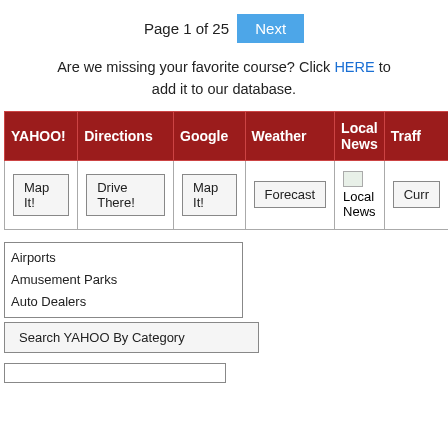Page 1 of 25  Next
Are we missing your favorite course? Click HERE to add it to our database.
| YAHOO! | Directions | Google | Weather | Local News | Traff |
| --- | --- | --- | --- | --- | --- |
| Map It! | Drive There! | Map It! | Forecast | Local News | Curr |
Airports
Amusement Parks
Auto Dealers
Search YAHOO By Category